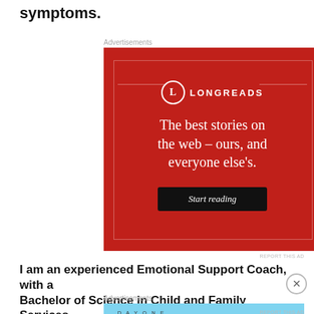symptoms.
[Figure (other): Longreads advertisement: red background with Longreads logo, text 'The best stories on the web – ours, and everyone else's.' and a 'Start reading' button.]
I am an experienced Emotional Support Coach, with a Bachelor of Science in Child and Family Services...
[Figure (other): DayOne journaling app advertisement: light blue background with DayOne logo and icons, text 'The only journaling app you'll ever need.']